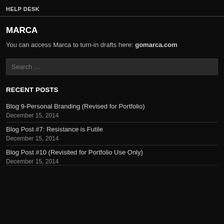HELP DESK
MARCA
You can access Marca to turn-in drafts here: gomarca.com
RECENT POSTS
Blog 9-Personal Branding (Revised for Portfolio)
December 15, 2014
Blog Post #7: Resistance is Futile
December 15, 2014
Blog Post #10 (Revisited for Portfolio Use Only)
December 15, 2014